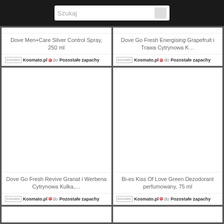Szukaj
[Figure (screenshot): Product card: Dove Men+Care Silver Control Spray, 250 ml with Kosmato.pl seller]
Dove Men+Care Silver Control Spray, 250 ml
Kosmato.pl do Pozostałe zapachy
[Figure (screenshot): Product card: Dove Go Fresh Energising Grapefruit i Trawa Cytrynowa K… with Kosmato.pl seller]
Dove Go Fresh Energising Grapefruit i Trawa Cytrynowa K…
Kosmato.pl do Pozostałe zapachy
[Figure (screenshot): Product card: Dove Go Fresh Revive Granat i Werbena Cytrynowa Kulka,… with Kosmato.pl seller]
Dove Go Fresh Revive Granat i Werbena Cytrynowa Kulka,…
Kosmato.pl do Pozostałe zapachy
[Figure (screenshot): Product card: Bi-es Kiss Of Love Green Dezodorant perfumowany, 75 ml with Kosmato.pl seller]
Bi-es Kiss Of Love Green Dezodorant perfumowany, 75 ml
Kosmato.pl do Pozostałe zapachy